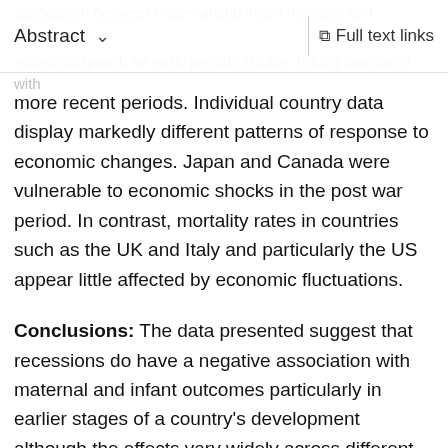Abstract  ∨   Full text links
more recent periods. Individual country data display markedly different patterns of response to economic changes. Japan and Canada were vulnerable to economic shocks in the post war period. In contrast, mortality rates in countries such as the UK and Italy and particularly the US appear little affected by economic fluctuations.
Conclusions: The data presented suggest that recessions do have a negative association with maternal and infant outcomes particularly in earlier stages of a country's development although the effects vary widely across different systems. Almost all of the 20 least wealthy countries have suffered a reduction of 10% or more in GDP per capita in at least one of the last five decades. The challenge for today's policy makers is the design and implementation of mechanisms that protect vulnerable populations from the effects of fluctuating